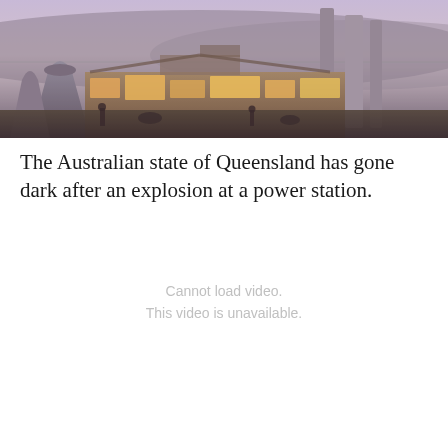[Figure (photo): Night-time photo of a large power station with cooling towers and tall chimneys illuminated by orange industrial lights, with a twilight sky in the background.]
The Australian state of Queensland has gone dark after an explosion at a power station.
Cannot load video.
This video is unavailable.